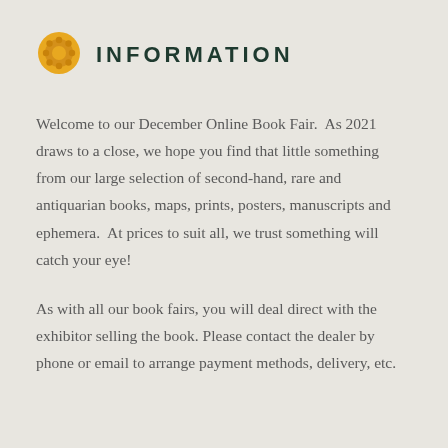[Figure (logo): Golden sunburst/gear icon with circular dots pattern in golden/yellow color]
INFORMATION
Welcome to our December Online Book Fair.  As 2021 draws to a close, we hope you find that little something from our large selection of second-hand, rare and antiquarian books, maps, prints, posters, manuscripts and ephemera.  At prices to suit all, we trust something will catch your eye!
As with all our book fairs, you will deal direct with the exhibitor selling the book. Please contact the dealer by phone or email to arrange payment methods, delivery, etc.